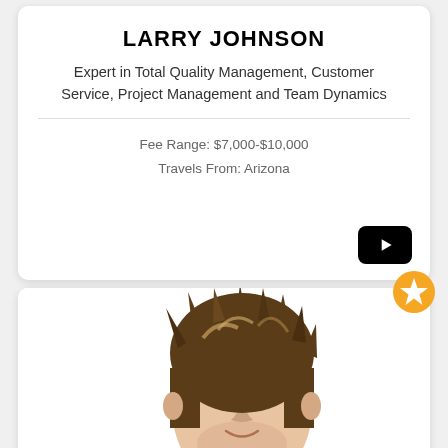LARRY JOHNSON
Expert in Total Quality Management, Customer Service, Project Management and Team Dynamics
Fee Range: $7,000-$10,000
Travels From: Arizona
[Figure (other): Black play button (YouTube-style) in lower right of card]
[Figure (photo): Photo of a woman with short spiky brown-highlighted hair, smiling, on white background. A gold star badge appears in upper right corner of the card.]